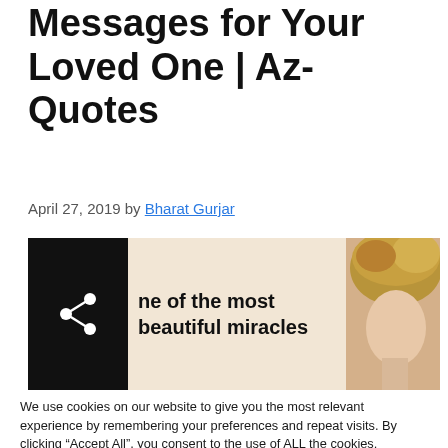Messages for Your Loved One | Az-Quotes
April 27, 2019 by Bharat Gurjar
[Figure (photo): Article banner image with share icon on left side, partial text 'One of the most beautiful miracles', and a photo of a person with blonde hair on the right.]
We use cookies on our website to give you the most relevant experience by remembering your preferences and repeat visits. By clicking “Accept All”, you consent to the use of ALL the cookies. However, you may visit "Cookie Settings" to provide a controlled consent.